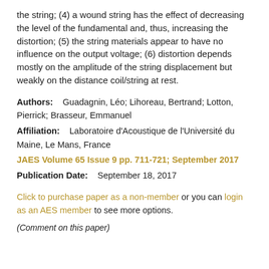the string; (4) a wound string has the effect of decreasing the level of the fundamental and, thus, increasing the distortion; (5) the string materials appear to have no influence on the output voltage; (6) distortion depends mostly on the amplitude of the string displacement but weakly on the distance coil/string at rest.
Authors: Guadagnin, Léo; Lihoreau, Bertrand; Lotton, Pierrick; Brasseur, Emmanuel
Affiliation: Laboratoire d'Acoustique de l'Université du Maine, Le Mans, France
JAES Volume 65 Issue 9 pp. 711-721; September 2017
Publication Date: September 18, 2017
Click to purchase paper as a non-member or you can login as an AES member to see more options.
(Comment on this paper)